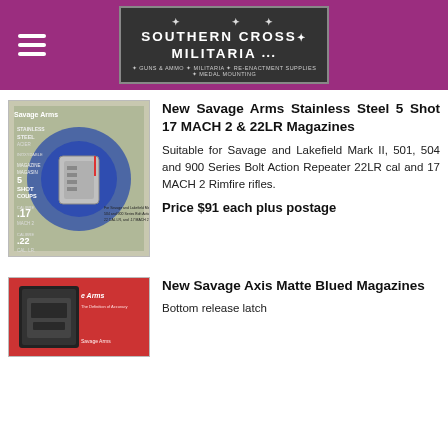Southern Cross Militaria
[Figure (photo): Savage Arms stainless steel magazine product packaging showing 5 shot clips in calibres .17 MACH 2 and .22 CAL LR]
New Savage Arms Stainless Steel 5 Shot 17 MACH 2 & 22LR Magazines
Suitable for Savage and Lakefield Mark II, 501, 504 and 900 Series Bolt Action Repeater 22LR cal and 17 MACH 2 Rimfire rifles.
Price $91 each plus postage
[Figure (photo): Savage Arms matte blued magazine product in red packaging]
New Savage Axis Matte Blued Magazines
Bottom release latch